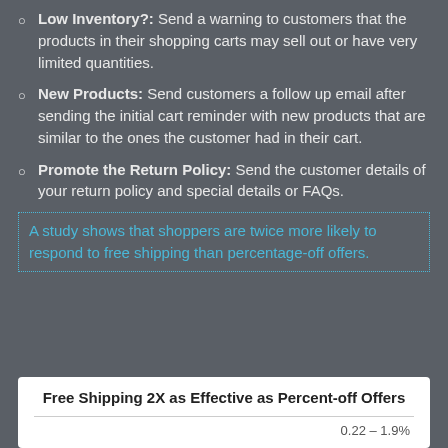Low Inventory?: Send a warning to customers that the products in their shopping carts may sell out or have very limited quantities.
New Products: Send customers a follow up email after sending the initial cart reminder with new products that are similar to the ones the customer had in their cart.
Promote the Return Policy: Send the customer details of your return policy and special details or FAQs.
A study shows that shoppers are twice more likely to respond to free shipping than percentage-off offers.
Free Shipping 2X as Effective as Percent-off Offers
0.22 – 1.9%